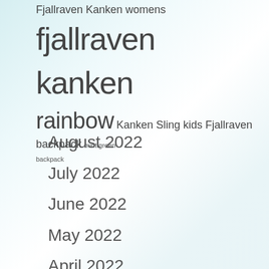Fjallraven Kanken womens fjallraven kanken rainbow Kanken Sling kids Fjallraven backpack mint green backpack
August 2022
July 2022
June 2022
May 2022
April 2022
March 2022
February 2022
January 2022